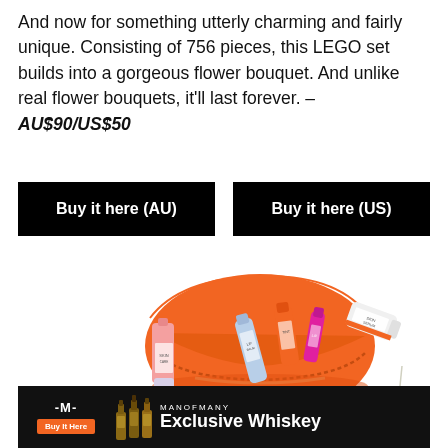And now for something utterly charming and fairly unique. Consisting of 756 pieces, this LEGO set builds into a gorgeous flower bouquet. And unlike real flower bouquets, it'll last forever. – AU$90/US$50
Buy it here (AU)
Buy it here (US)
[Figure (photo): Orange makeup/cosmetics bag with several beauty products displayed around it including serums, lip products, and a white tube, along with an advertisement banner at the bottom for ManofMany Exclusive Whiskey with an orange Buy It Here button.]
[Figure (infographic): Ad banner: ManofMany logo with whiskey bottle illustrations and text 'MANOFMANY Exclusive Whiskey' with orange 'Buy It Here' button]